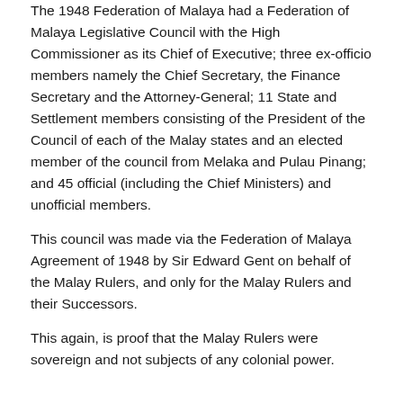The 1948 Federation of Malaya had a Federation of Malaya Legislative Council with the High Commissioner as its Chief of Executive; three ex-officio members namely the Chief Secretary, the Finance Secretary and the Attorney-General; 11 State and Settlement members consisting of the President of the Council of each of the Malay states and an elected member of the council from Melaka and Pulau Pinang; and 45 official (including the Chief Ministers) and unofficial members.
This council was made via the Federation of Malaya Agreement of 1948 by Sir Edward Gent on behalf of the Malay Rulers, and only for the Malay Rulers and their Successors.
This again, is proof that the Malay Rulers were sovereign and not subjects of any colonial power.